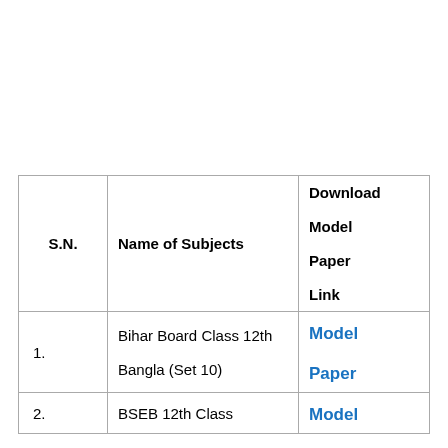| S.N. | Name of Subjects | Download Model Paper Link |
| --- | --- | --- |
| 1. | Bihar Board Class 12th Bangla (Set 10) | Model Paper |
| 2. | BSEB 12th Class | Model |